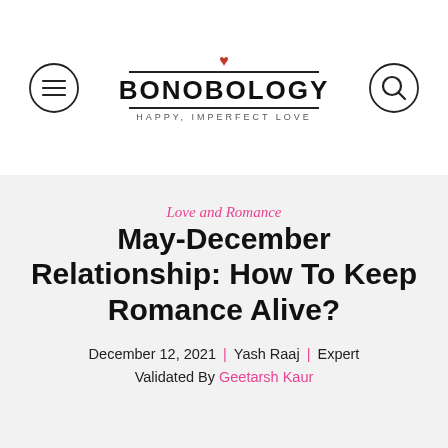[Figure (logo): Bonobology logo with heart icon, wordmark BONOBOLOGY in bold, tagline HAPPY, IMPERFECT LOVE, menu hamburger button on left, search icon on right]
Love and Romance
May-December Relationship: How To Keep Romance Alive?
December 12, 2021  | Yash Raaj | Expert Validated By Geetarsh Kaur